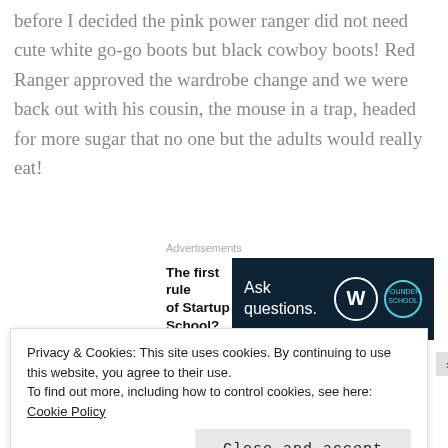before I decided the pink power ranger did not need cute white go-go boots but black cowboy boots! Red Ranger approved the wardrobe change and we were back out with his cousin, the mouse in a trap, headed for more sugar that no one but the adults would really eat!
[Figure (screenshot): Advertisement section with text 'The first rule of Startup School?' and a dark navy banner with 'Ask questions.' alongside WordPress and Founder School logos]
[Figure (photo): Exterior photo strip showing a house with siding, roof, and trees with autumn foliage]
Privacy & Cookies: This site uses cookies. By continuing to use this website, you agree to their use.
To find out more, including how to control cookies, see here: Cookie Policy
Close and accept